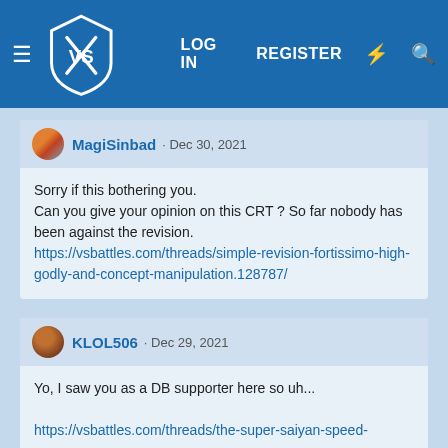VS LOG IN REGISTER
MagiSinbad · Dec 30, 2021
Sorry if this bothering you.
Can you give your opinion on this CRT ? So far nobody has been against the revision.
https://vsbattles.com/threads/simple-revision-fortissimo-high-godly-and-concept-manipulation.128787/
KLOL506 · Dec 29, 2021
Yo, I saw you as a DB supporter here so uh...
https://vsbattles.com/threads/the-super-saiyan-speed-